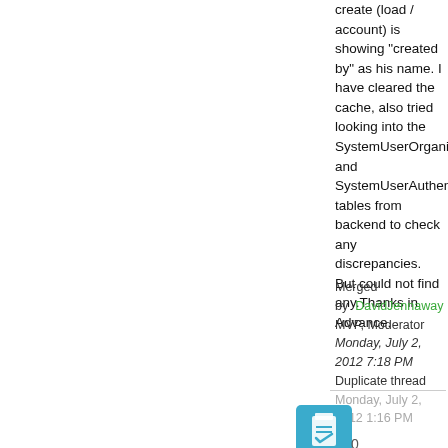create (load / account) is showing "created by" as his name. I have cleared the cache, also tried looking into the SystemUserOrganizations and SystemUserAuthentication tables from backend to check any discrepancies. But could not find any.Thanks in Advance.
Merged by  DavidJennaway
MVP, Moderator
Monday, July 2, 2012 7:18 PM   Duplicate thread
Monday, July 2, 2012 1:16 PM
[Figure (illustration): Blue square icon with white clipboard/checklist symbol]
▲
0